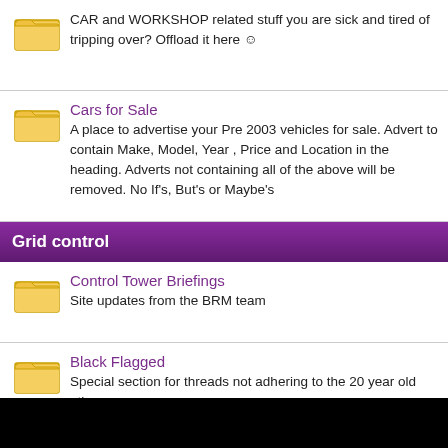CAR and WORKSHOP related stuff you are sick and tired of tripping over? Offload it here :)
Cars for Sale
A place to advertise your Pre 2003 vehicles for sale. Advert to contain Make, Model, Year , Price and Location in the heading. Adverts not containing all of the above will be removed. No If's, But's or Maybe's
Grid control
Control Tower Briefings
Site updates from the BRM team
Black Flagged
Special section for threads not adhering to the 20 year old ethos.
Admin / Website / Image discussion
Registration issues
Any issues with registering on the forum, feel free to talk